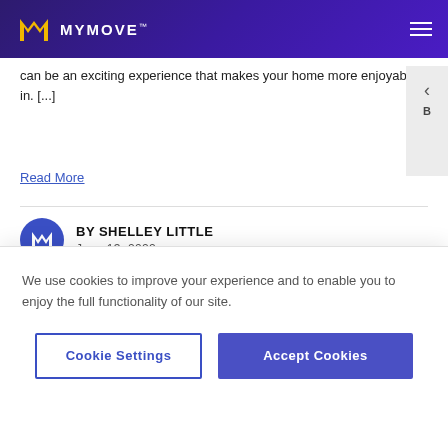MYMOVE
can be an exciting experience that makes your home more enjoyable in. [...]
Read More
BY SHELLEY LITTLE
June 13, 2022
[Figure (photo): Interior room photo, partially visible]
We use cookies to improve your experience and to enable you to enjoy the full functionality of our site.
Cookie Settings
Accept Cookies